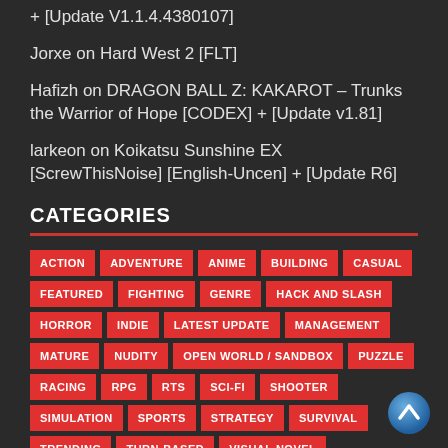+ [Update V1.1.4.4380107]
Jorxe on Hard West 2 [FLT]
Hafizh on DRAGON BALL Z: KAKAROT – Trunks the Warrior of Hope [CODEX] + [Update v1.81]
larkeon on Koikatsu Sunshine EX [ScrewThisNoise] [English-Uncen] + [Update R6]
CATEGORIES
ACTION
ADVENTURE
ANIME
BUILDING
CASUAL
FEATURED
FIGHTING
GENRE
HACK AND SLASH
HORROR
INDIE
LATEST UPDATE
MANAGEMENT
MATURE
NUDITY
OPEN WORLD / SANDBOX
PUZZLE
RACING
RPG
RTS
SCI-FI
SHOOTER
SIMULATION
SPORTS
STRATEGY
SURVIVAL
TRENDING
TURN-BASED
VISUAL NOVEL